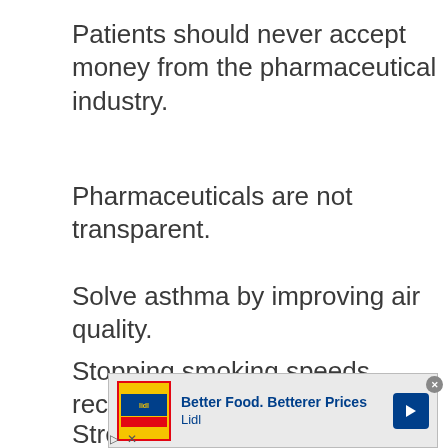Patients should never accept money from the pharmaceutical industry.
Pharmaceuticals are not transparent.
Solve asthma by improving air quality.
Stopping smoking speeds recovery after operations.
Stress and anxiety are the biggest enemies of the heart which should be